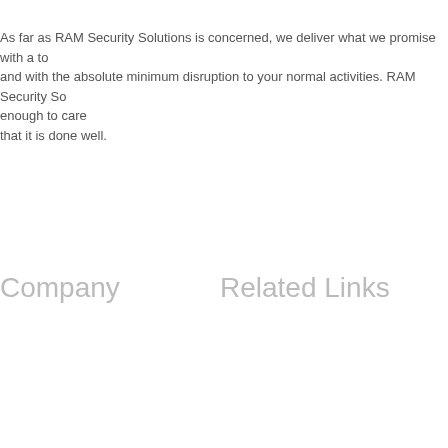As far as RAM Security Solutions is concerned, we deliver what we promise with a to and with the absolute minimum disruption to your normal activities. RAM Security So enough to care that it is done well.
Company
Related Links